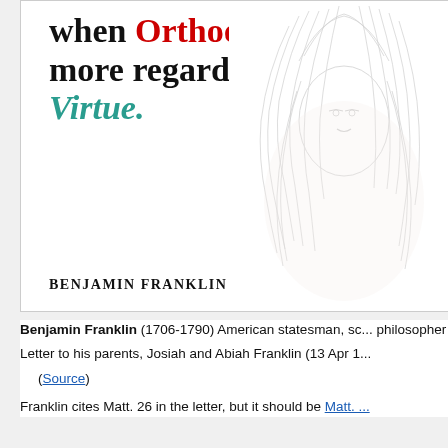[Figure (illustration): Quote card showing Benjamin Franklin quote: '...when Orthodoxy is more regarded than Virtue.' with a pencil sketch portrait of Franklin on the right side. Author name 'Benjamin Franklin' printed at bottom left in small caps.]
Benjamin Franklin (1706-1790) American statesman, sc... philosopher
Letter to his parents, Josiah and Abiah Franklin (13 Apr 1...
    (Source)
Franklin cites Matt. 26 in the letter, but it should be Matt. ...